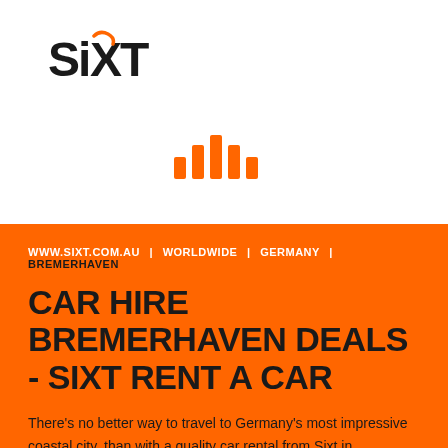[Figure (logo): SIXT car rental logo in black with orange checkmark accent above the X]
[Figure (infographic): Orange audio/sound bars icon - five vertical bars of varying heights in orange color]
WWW.SIXT.COM.AU | WORLDWIDE | GERMANY | BREMERHAVEN
CAR HIRE BREMERHAVEN DEALS - SIXT RENT A CAR
There's no better way to travel to Germany's most impressive coastal city, than with a quality car rental from Sixt in Bremerhaven. Across our